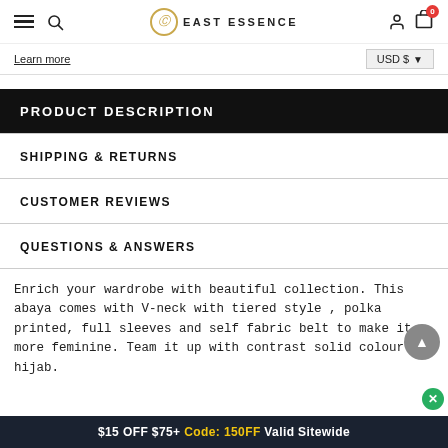East Essence navigation bar with hamburger menu, search, logo, user icon, cart (0)
Learn more
USD $
PRODUCT DESCRIPTION
SHIPPING & RETURNS
CUSTOMER REVIEWS
QUESTIONS & ANSWERS
Enrich your wardrobe with beautiful collection. This abaya comes with V-neck with tiered style , polka printed, full sleeves and self fabric belt to make it more feminine. Team it up with contrast solid colour hijab.
$15 OFF $75+ Code: 150FF Valid Sitewide